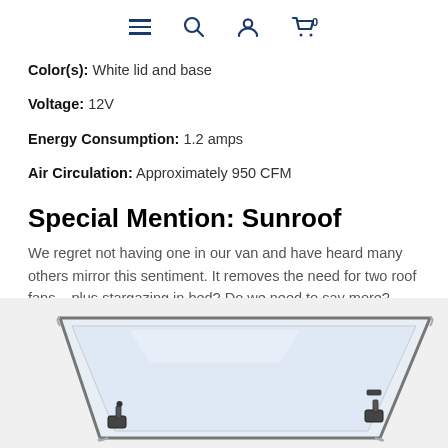Navigation bar with hamburger menu, search, user, and cart icons
Color(s): White lid and base
Voltage: 12V
Energy Consumption: 1.2 amps
Air Circulation: Approximately 950 CFM
Special Mention: Sunroof
We regret not having one in our van and have heard many others mirror this sentiment. It removes the need for two roof fans... plus stargazing in bed? Do we need to say more?
[Figure (photo): A clear acrylic van sunroof panel propped open at an angle, showing mounting hardware clips on each corner against a white/grey background.]